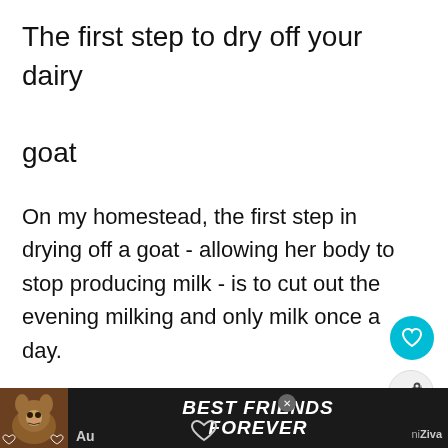The first step to dry off your dairy goat
On my homestead, the first step in drying off a goat - allowing her body to stop producing milk - is to cut out the evening milking and only milk once a day.
I usually do this when it gets really hot
[Figure (infographic): Ad banner with cat image and text 'BEST FRIENDS FOREVER' in white bold italic on dark background, with paw/heart icons and 'Au' text on left, 'niZiva' text on right]